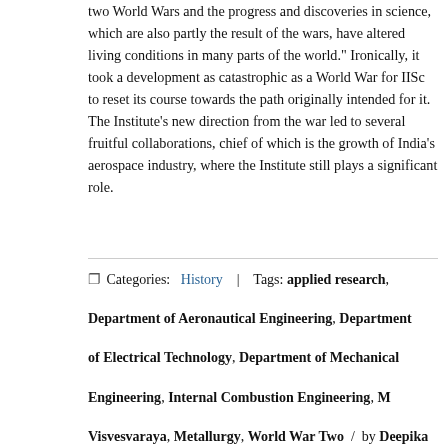two World Wars and the progress and discoveries in science, which are also partly the result of the wars, have altered living conditions in many parts of the world." Ironically, it took a development as catastrophic as a World War for IISc to reset its course towards the path originally intended for it. The Institute's new direction from the war led to several fruitful collaborations, chief of which is the growth of India's aerospace industry, where the Institute still plays a significant role.
Categories: History | Tags: applied research, Department of Aeronautical Engineering, Department of Electrical Technology, Department of Mechanical Engineering, Internal Combustion Engineering, M Visvesvaraya, Metallurgy, World War Two / by Deepika